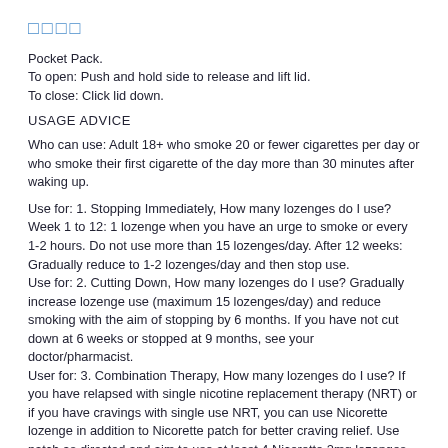□□□□
Pocket Pack.
To open: Push and hold side to release and lift lid.
To close: Click lid down.
USAGE ADVICE
Who can use: Adult 18+ who smoke 20 or fewer cigarettes per day or who smoke their first cigarette of the day more than 30 minutes after waking up.
Use for: 1. Stopping Immediately, How many lozenges do I use? Week 1 to 12: 1 lozenge when you have an urge to smoke or every 1-2 hours. Do not use more than 15 lozenges/day. After 12 weeks: Gradually reduce to 1-2 lozenges/day and then stop use.
Use for: 2. Cutting Down, How many lozenges do I use? Gradually increase lozenge use (maximum 15 lozenges/day) and reduce smoking with the aim of stopping by 6 months. If you have not cut down at 6 weeks or stopped at 9 months, see your doctor/pharmacist.
User for: 3. Combination Therapy, How many lozenges do I use? If you have relapsed with single nicotine replacement therapy (NRT) or if you have cravings with single use NRT, you can use Nicorette lozenge in addition to Nicorette patch for better craving relief. Use patch as directed and aim to use at least 4 Nicorette 2mg lozenges (maximum of 12) every day.
After 12 weeks, reduce use of patch or lozenge (see pack insert).